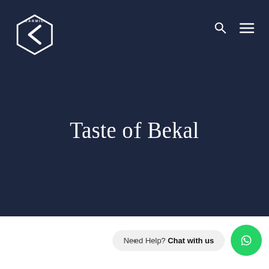[Figure (logo): Karmic logo — white hexagon outline with a left-pointing chevron (K) in the center and the word KARMIC around the top edge]
Taste of Bekal
Need Help? Chat with us